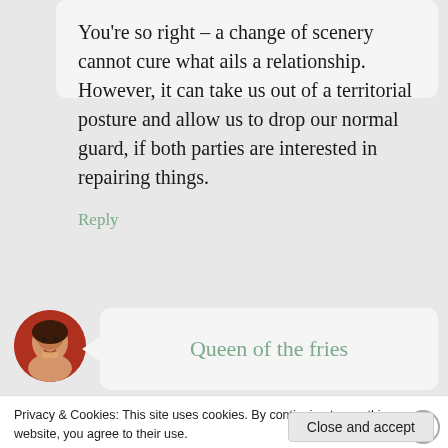You’re so right – a change of scenery cannot cure what ails a relationship. However, it can take us out of a territorial posture and allow us to drop our normal guard, if both parties are interested in repairing things.
Reply
[Figure (photo): Circular avatar photo of a woman with dark hair, appears to be in front of a red background]
Queen of the fries
Privacy & Cookies: This site uses cookies. By continuing to use this website, you agree to their use.
To find out more, including how to control cookies, see here: Cookie Policy
Close and accept